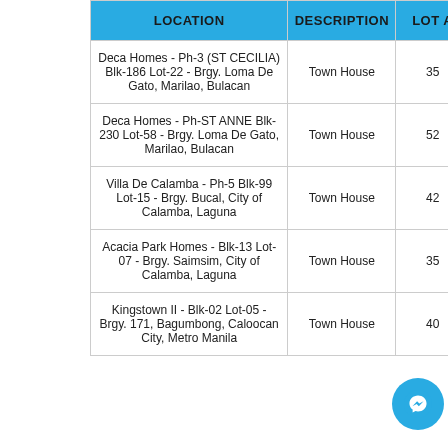| LOCATION | DESCRIPTION | LOT A |
| --- | --- | --- |
| Deca Homes - Ph-3 (ST CECILIA) Blk-186 Lot-22 - Brgy. Loma De Gato, Marilao, Bulacan | Town House | 35 |
| Deca Homes - Ph-ST ANNE Blk-230 Lot-58 - Brgy. Loma De Gato, Marilao, Bulacan | Town House | 52 |
| Villa De Calamba - Ph-5 Blk-99 Lot-15 - Brgy. Bucal, City of Calamba, Laguna | Town House | 42 |
| Acacia Park Homes - Blk-13 Lot-07 - Brgy. Saimsim, City of Calamba, Laguna | Town House | 35 |
| Kingstown II - Blk-02 Lot-05 - Brgy. 171, Bagumbong, Caloocan City, Metro Manila | Town House | 40 |